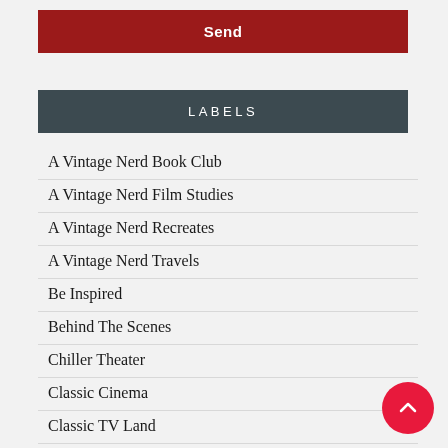Send
LABELS
A Vintage Nerd Book Club
A Vintage Nerd Film Studies
A Vintage Nerd Recreates
A Vintage Nerd Travels
Be Inspired
Behind The Scenes
Chiller Theater
Classic Cinema
Classic TV Land
Dell Purse Books
Exploring the 1960's
Exploring the 1970's